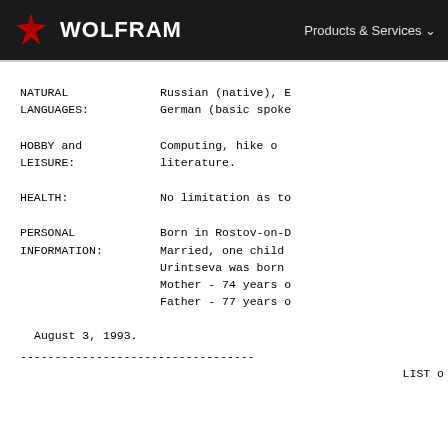WOLFRAM | Products & Services
NATURAL LANGUAGES: Russian (native), E... German (basic spoke...
HOBBY and LEISURE: Computing, hike o... literature.
HEALTH: No limitation as to...
PERSONAL INFORMATION: Born in Rostov-on-D... Married, one child ... Urintseva was born ... Mother - 74 years o... Father - 77 years o...
August 3, 1993.
-----------------------------------
LIST o